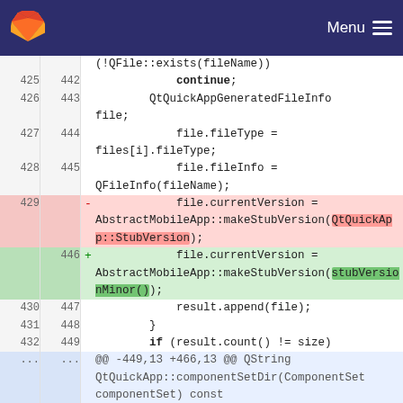GitLab — Menu
[Figure (screenshot): Code diff view showing lines 425-449 (old) / 442-466 (new) of a C++ source file. Lines 429 (deleted) and 446 (inserted) show a change from QtQuickApp::StubVersion to stubVersionMinor().]